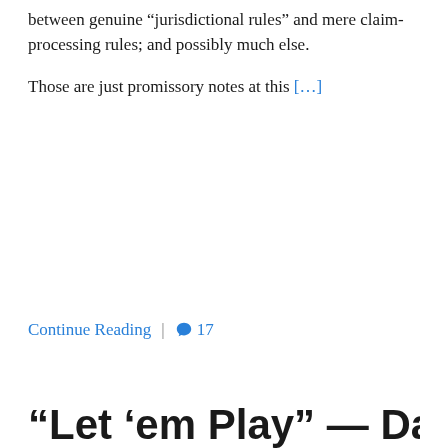between genuine “jurisdictional rules” and mere claim-processing rules; and possibly much else.

Those are just promissory notes at this [...]
Continue Reading | 💬 17
“Let ’em Play” — Day 4: Of